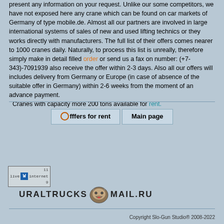As you can see some information here we got, but we can present any information on your request. Unlike our some competitors, we have not exposed here any crane which can be found on car markets of Germany of type mobile.de. Almost all our partners are involved in large international systems of sales of new and used lifting technics or they works directly with manufacturers. The full list of their offers comes nearer to 1000 cranes daily. Naturally, to process this list is unreally, therefore simply make in detail filled order or send us a fax on number: (+7-343)-7091939 also receive the offer within 2-3 days. Also all our offers will includes delivery from Germany or Europe (in case of absence of the suitable offer in Germany) within 2-6 weeks from the moment of an advance payment. Cranes with capacity more 200 tons available for rent.
Offers for rent | Main page
[Figure (logo): LiveInternet statistics badge showing numbers 11 and 9]
[Figure (logo): UralTrucks mail.ru email logo with bulldog mascot]
Copyright Slo-Gun Studio® 2008-2022